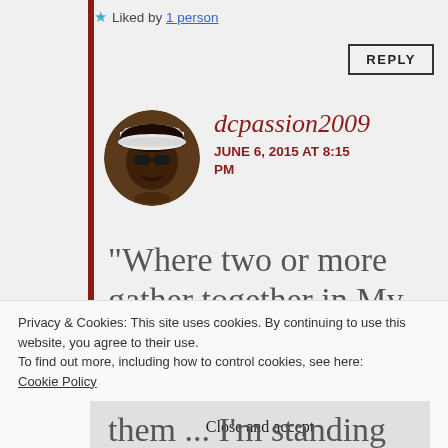★ Liked by 1 person
REPLY
[Figure (photo): Circular avatar photo of a woman wearing sunglasses and a white visor hat, smiling]
dcpassion2009
JUNE 6, 2015 AT 8:15 PM
“Where two or more gather together in My
Privacy & Cookies: This site uses cookies. By continuing to use this website, you agree to their use.
To find out more, including how to control cookies, see here: Cookie Policy
Close and accept
them ... I’m standing